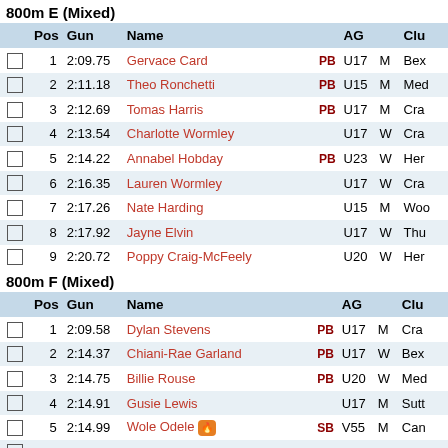800m E (Mixed)
|  | Pos | Gun | Name |  | AG |  | Clu |
| --- | --- | --- | --- | --- | --- | --- | --- |
|  | 1 | 2:09.75 | Gervace Card | PB | U17 | M | Bex |
|  | 2 | 2:11.18 | Theo Ronchetti | PB | U15 | M | Med |
|  | 3 | 2:12.69 | Tomas Harris | PB | U17 | M | Cra |
|  | 4 | 2:13.54 | Charlotte Wormley |  | U17 | W | Cra |
|  | 5 | 2:14.22 | Annabel Hobday | PB | U23 | W | Her |
|  | 6 | 2:16.35 | Lauren Wormley |  | U17 | W | Cra |
|  | 7 | 2:17.26 | Nate Harding |  | U15 | M | Woo |
|  | 8 | 2:17.92 | Jayne Elvin |  | U17 | W | Thu |
|  | 9 | 2:20.72 | Poppy Craig-McFeely |  | U20 | W | Her |
800m F (Mixed)
|  | Pos | Gun | Name |  | AG |  | Clu |
| --- | --- | --- | --- | --- | --- | --- | --- |
|  | 1 | 2:09.58 | Dylan Stevens | PB | U17 | M | Cra |
|  | 2 | 2:14.37 | Chiani-Rae Garland | PB | U17 | W | Bex |
|  | 3 | 2:14.75 | Billie Rouse | PB | U20 | W | Med |
|  | 4 | 2:14.91 | Gusie Lewis |  | U17 | M | Sutt |
|  | 5 | 2:14.99 | Wole Odele 🔥 | SB | V55 | M | Can |
|  | 6 | 2:17.43 | Fred Hake |  | U15 | M | Her |
|  | 7 | 2:20.59 | Lily Slack | PB | U15 | W | Ton |